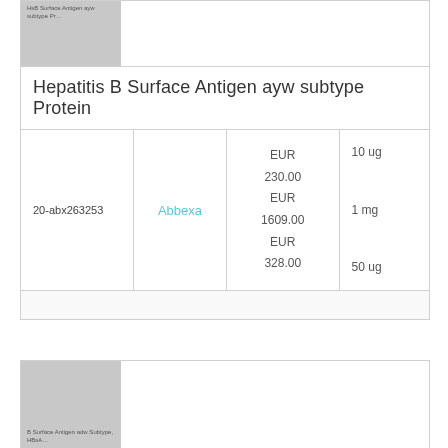[Figure (photo): Hepatitis B Surface Antigen ayw subtype Protein product image thumbnail (gray placeholder)]
Hepatitis B Surface Antigen ayw subtype Protein
| Product ID | Supplier | Price | Quantity |
| --- | --- | --- | --- |
| 20-abx263253 | Abbexa | EUR 230.00
EUR 1609.00
EUR 328.00 | 10 ug
1 mg
50 ug |
[Figure (photo): Hepatitis B Surface Antigen adw Subtype HBsAg product image thumbnail (gray placeholder, partial view)]